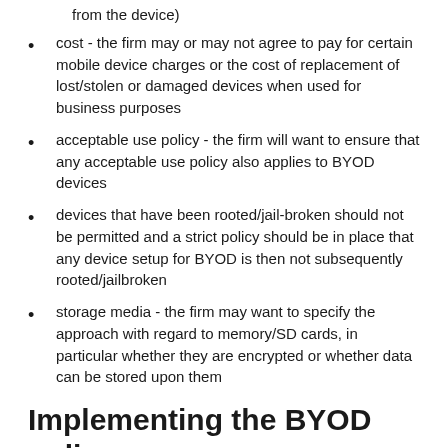to the device if it is finalized (not what data might be wiped from the device)
cost - the firm may or may not agree to pay for certain mobile device charges or the cost of replacement of lost/stolen or damaged devices when used for business purposes
acceptable use policy - the firm will want to ensure that any acceptable use policy also applies to BYOD devices
devices that have been rooted/jail-broken should not be permitted and a strict policy should be in place that any device setup for BYOD is then not subsequently rooted/jailbroken
storage media - the firm may want to specify the approach with regard to memory/SD cards, in particular whether they are encrypted or whether data can be stored upon them
Implementing the BYOD policy
BYOD can either be formally adopted as a policy and then implemented, or...